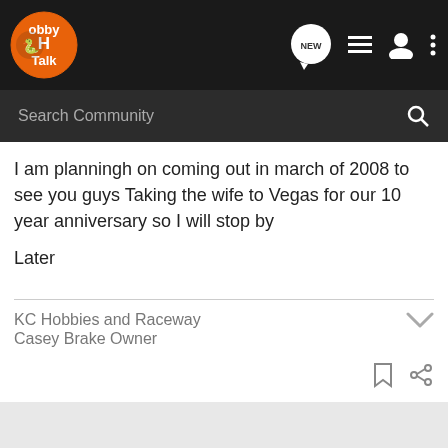Hobby Talk
I am planningh on coming out in march of 2008 to see you guys Taking the wife to Vegas for our 10 year anniversary so I will stop by

Later
KC Hobbies and Raceway
Casey Brake Owner